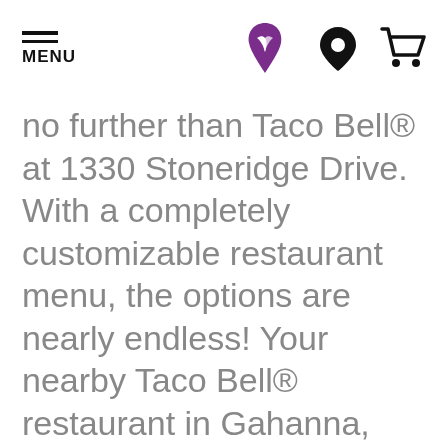[Figure (logo): Taco Bell website header with hamburger menu icon labeled MENU, Taco Bell purple logo, location pin icon, and shopping cart icon]
no further than Taco Bell® at 1330 Stoneridge Drive. With a completely customizable restaurant menu, the options are nearly endless! Your nearby Taco Bell® restaurant in Gahanna, OH is open late so you can find